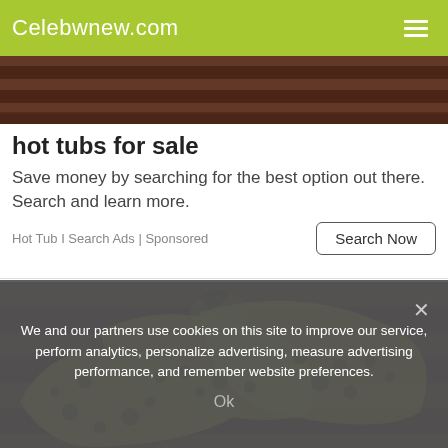Celebwnew.com
[Figure (photo): Wooden planks background image at top of page]
hot tubs for sale
Save money by searching for the best option out there. Search and learn more.
Hot Tub I Search Ads | Sponsored
[Figure (photo): Overripe spotted bananas on a wooden surface]
We and our partners use cookies on this site to improve our service, perform analytics, personalize advertising, measure advertising performance, and remember website preferences.